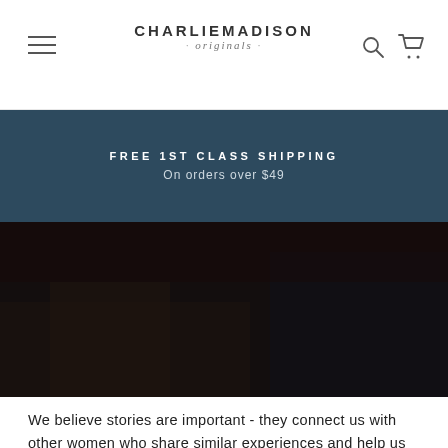CHARLIEMADISON · originals ·
FREE 1ST CLASS SHIPPING
On orders over $49
[Figure (photo): Darkened photo of women gathered around a table, appears to be a craft or workshop setting]
We believe stories are important - they connect us with other women who share similar experiences and help us feel as if we're